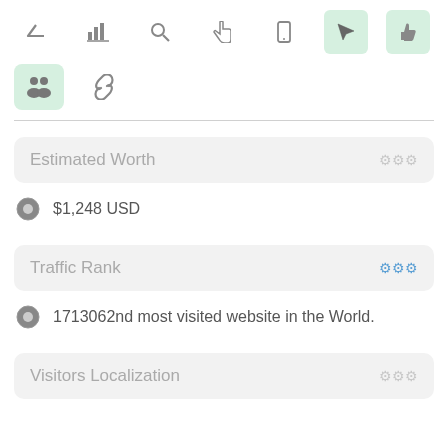[Figure (screenshot): Toolbar row 1 with navigation icons: up arrow, bar chart, search, hand cursor, mobile, and two highlighted green buttons (location arrow, thumbs up)]
[Figure (screenshot): Toolbar row 2 with people/users icon (highlighted green) and a chain/link icon]
Estimated Worth
$1,248 USD
Traffic Rank
1713062nd most visited website in the World.
Visitors Localization